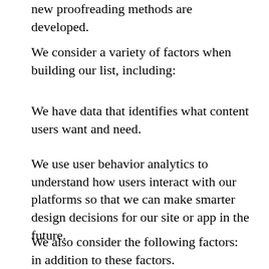new proofreading methods are developed.
We consider a variety of factors when building our list, including:
We have data that identifies what content users want and need.
We use user behavior analytics to understand how users interact with our platforms so that we can make smarter design decisions for our site or app in the future.
We also consider the following factors: in addition to these factors.